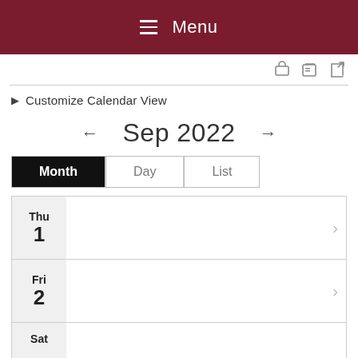Menu
Customize Calendar View
Sep 2022
Month | Day | List
| Day | Events |
| --- | --- |
| Thu 1 |  |
| Fri 2 |  |
| Sat |  |